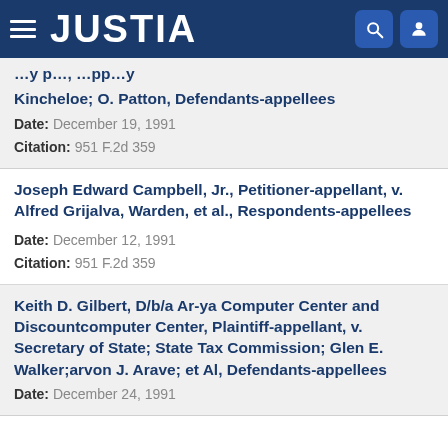JUSTIA
Kincheloe; O. Patton, Defendants-appellees
Date: December 19, 1991
Citation: 951 F.2d 359
Joseph Edward Campbell, Jr., Petitioner-appellant, v. Alfred Grijalva, Warden, et al., Respondents-appellees
Date: December 12, 1991
Citation: 951 F.2d 359
Keith D. Gilbert, D/b/a Ar-ya Computer Center and Discountcomputer Center, Plaintiff-appellant, v. Secretary of State; State Tax Commission; Glen E. Walker;arvon J. Arave; et Al, Defendants-appellees
Date: December 24, 1991